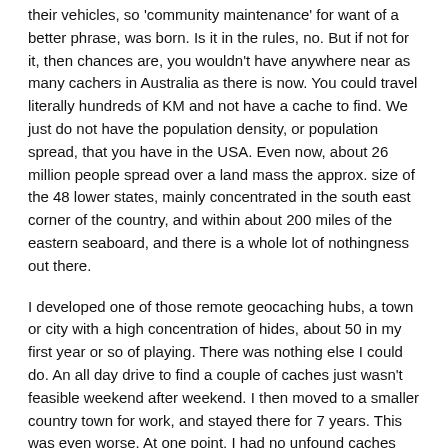their vehicles, so 'community maintenance' for want of a better phrase, was born. Is it in the rules, no. But if not for it, then chances are, you wouldn't have anywhere near as many cachers in Australia as there is now. You could travel literally hundreds of KM and not have a cache to find. We just do not have the population density, or population spread, that you have in the USA. Even now, about 26 million people spread over a land mass the approx. size of the 48 lower states, mainly concentrated in the south east corner of the country, and within about 200 miles of the eastern seaboard, and there is a whole lot of nothingness out there.
I developed one of those remote geocaching hubs, a town or city with a high concentration of hides, about 50 in my first year or so of playing. There was nothing else I could do. An all day drive to find a couple of caches just wasn't feasible weekend after weekend. I then moved to a smaller country town for work, and stayed there for 7 years. This was even worse. At one point, I had no unfound caches within an approx. 300km radius, and that totalled about a dozen finds inside that radius. When I moved back to my hometown, about 4 years ago, the situation had improved somewhat. There is probably now about 10 cachers in town.
Whilst I cant speak with first hand knowledge, I think the local reviewers recognised this situation, and have allowed it to continue. We have had